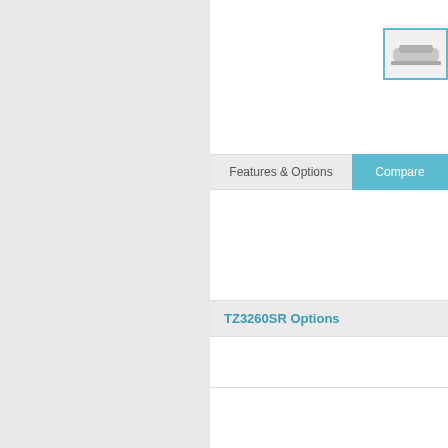[Figure (photo): Small thumbnail image of a bathtub product (TZ3260SR), shown in a teal-bordered box in the upper right]
Features & Options
Compare
TZ3260SR Options
TZ3260SR Features
Room for one
QUIET DESIGN
Enjoy a peaceful bathing experience.
The C
New Vic
Baths a
Jason International, Inc · 8328 MacArthur Drive · North Little Rock, AR 72...
©2007 Jason International Inc. All Rights...